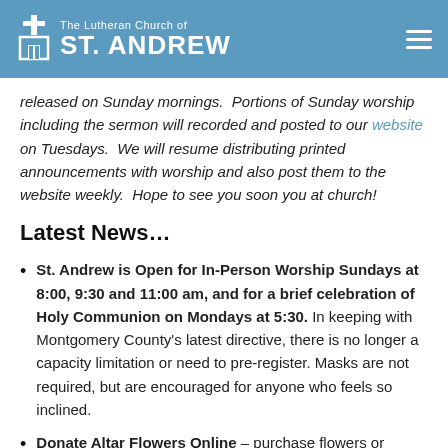The Lutheran Church of ST. ANDREW
released on Sunday mornings.  Portions of Sunday worship including the sermon will recorded and posted to our website on Tuesdays.  We will resume distributing printed announcements with worship and also post them to the website weekly.  Hope to see you soon you at church!
Latest News…
St. Andrew is Open for In-Person Worship Sundays at 8:00, 9:30 and 11:00 am, and for a brief celebration of Holy Communion on Mondays at 5:30. In keeping with Montgomery County's latest directive, there is no longer a capacity limitation or need to pre-register. Masks are not required, but are encouraged for anyone who feels so inclined.
Donate Altar Flowers Online – purchase flowers or